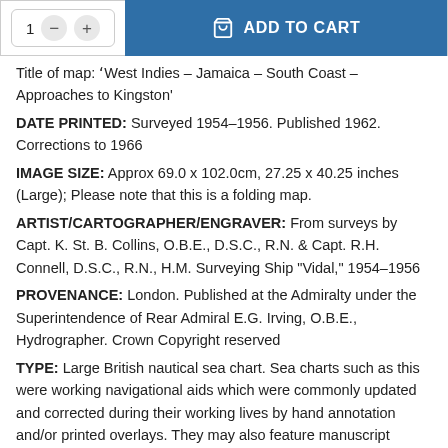[Figure (other): E-commerce UI: quantity selector (1, minus, plus) and blue Add to Cart button with cart icon]
Title of map: 'West Indies – Jamaica – South Coast – Approaches to Kingston'
DATE PRINTED: Surveyed 1954–1956. Published 1962. Corrections to 1966
IMAGE SIZE: Approx 69.0 x 102.0cm, 27.25 x 40.25 inches (Large); Please note that this is a folding map.
ARTIST/CARTOGRAPHER/ENGRAVER: From surveys by Capt. K. St. B. Collins, O.B.E., D.S.C., R.N. & Capt. R.H. Connell, D.S.C., R.N., H.M. Surveying Ship "Vidal," 1954–1956
PROVENANCE: London. Published at the Admiralty under the Superintendence of Rear Admiral E.G. Irving, O.B.E., Hydrographer. Crown Copyright reserved
TYPE: Large British nautical sea chart. Sea charts such as this were working navigational aids which were commonly updated and corrected during their working lives by hand annotation and/or printed overlays. They may also feature manuscript navigational notes, comments or other markings
VERSO: There is nothing printed on the reverse side, which is plain.